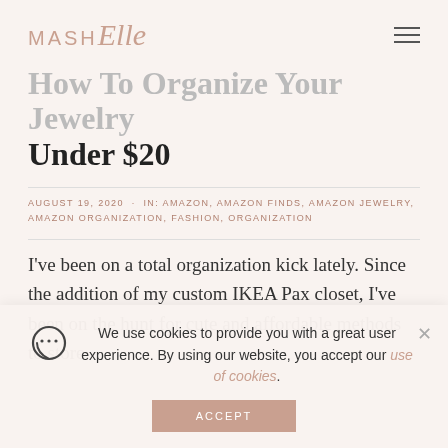MASH Elle
How To Organize Your Jewelry Under $20
AUGUST 19, 2020 · IN: AMAZON, AMAZON FINDS, AMAZON JEWELRY, AMAZON ORGANIZATION, FASHION, ORGANIZATION
I've been on a total organization kick lately. Since the addition of my custom IKEA Pax closet, I've been on the hunt for cute and affordable methods to store
We use cookies to provide you with a great user experience. By using our website, you accept our use of cookies.